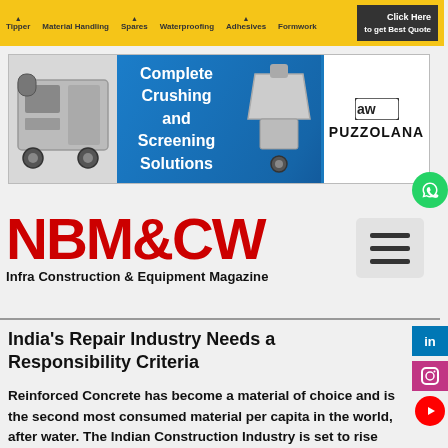[Figure (infographic): Yellow advertisement banner with category labels: Tipper, Material Handling, Spares, Waterproofing, Adhesives, Formwork, and a Click Here to get Best Quote CTA]
[Figure (infographic): Blue Puzzolana advertisement banner with text 'Complete Crushing and Screening Solutions' and machinery images on both sides, Puzzolana brand logo on right]
[Figure (logo): WhatsApp green circle icon]
[Figure (logo): NBM&CW red logo with tagline 'Infra Construction & Equipment Magazine' and hamburger menu icon]
India's Repair Industry Needs a Responsibility Criteria
Reinforced Concrete has become a material of choice and is the second most consumed material per capita in the world, after water. The Indian Construction Industry is set to rise from a value of US$ 428.1 billion today to US$ 563.4 billion in 2020 (R¹). Exponential growth in Indian concrete